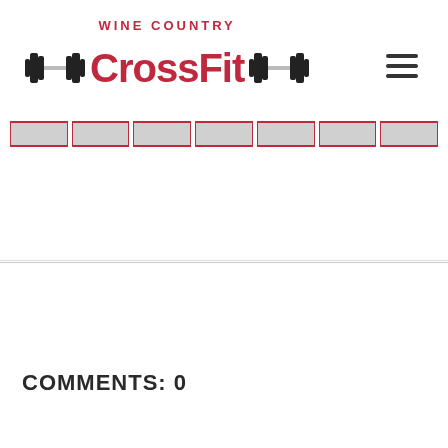Wine Country CrossFit logo and navigation
COMMENTS: 0